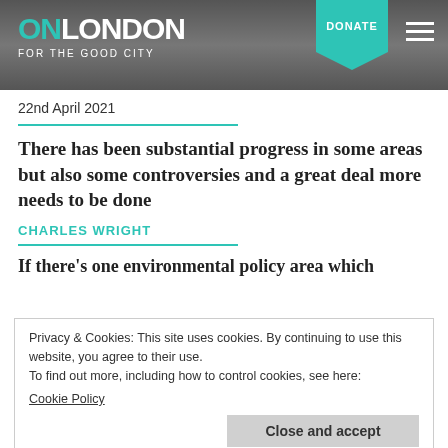ON LONDON — FOR THE GOOD CITY | DONATE
22nd April 2021
There has been substantial progress in some areas but also some controversies and a great deal more needs to be done
CHARLES WRIGHT
If there's one environmental policy area which
Privacy & Cookies: This site uses cookies. By continuing to use this website, you agree to their use.
To find out more, including how to control cookies, see here: Cookie Policy
Close and accept
Findings from King's College London, published